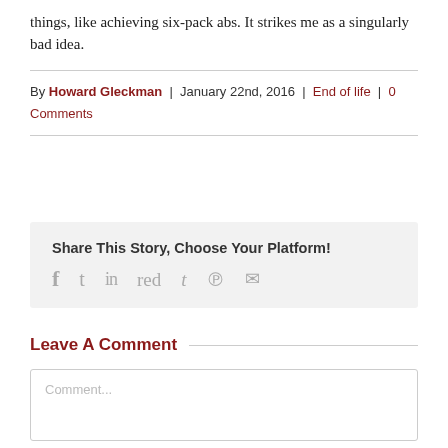things, like achieving six-pack abs. It strikes me as a singularly bad idea.
By Howard Gleckman | January 22nd, 2016 | End of life | 0 Comments
Share This Story, Choose Your Platform!
[Figure (infographic): Social sharing icons: Facebook, Twitter, LinkedIn, Reddit, Tumblr, Pinterest, Email]
Leave A Comment
Comment...